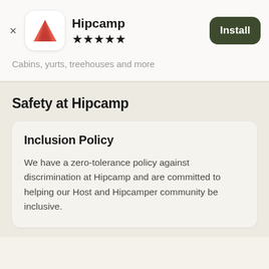[Figure (logo): Hipcamp app icon: white rounded square with red/salmon triangle (tent/mountain) logo]
Hipcamp
[Figure (other): Five black star rating icons]
[Figure (other): Install button, dark olive green rounded rectangle]
Cabins, yurts, treehouses and more
Safety at Hipcamp
Inclusion Policy
We have a zero-tolerance policy against discrimination at Hipcamp and are committed to helping our Host and Hipcamper community be inclusive.